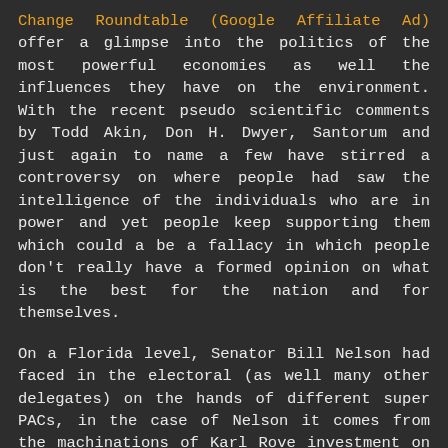Change Roundtable (Google Affiliate Ad) offer a glimpse into the politics of the most powerful economies as well the influences they have on the environment. With the recent pseudo scientific comments by Todd Akin, Don H. Dwyer, Santorum and just again to name a few have stirred a controversy on where people had saw the intelligence of the individuals who are in power and yet people keep supporting them which could a be a fallacy in which people don't really have a formed opinion on what is the best for the nation and for themselves.
On a Florida level, Senator Bill Nelson had faced in the electoral (as well many other delegates) on the hands of different super PACs, in the case of Nelson it comes from the machinations of Karl Rove investment on the American Crossroads by buying US$2.4 mill in television advertisement to blast Nelson and diverge attention on a Florida ground from potential unwanted attention by the stupid and out of place comments of Todd Akin about "legitimate rape" which makes us think if there is "legitimate rape" no doubt there is "legitimate bullying" and that's what the Grand Ole Party is doing more than ever.